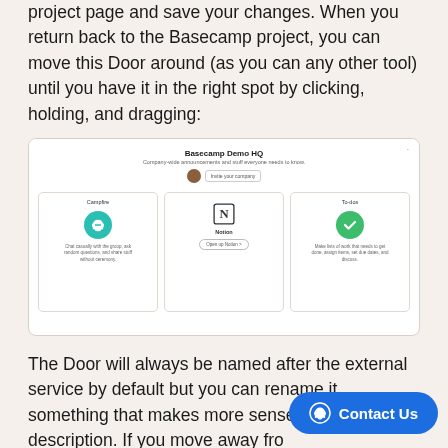project page and save your changes. When you return back to the Basecamp project, you can move this Door around (as you can any other tool) until you have it in the right spot by clicking, holding, and dragging:
[Figure (screenshot): Screenshot of a Basecamp Demo HQ project page showing three tool cards: Campfire (teal chat icon), Notion door (Notion logo with 'Open up Notion' button), and To-dos (green checkmark icon)]
The Door will always be named after the external service by default but you can rename it something that makes more sense for your tea... a description. If you move away fro...